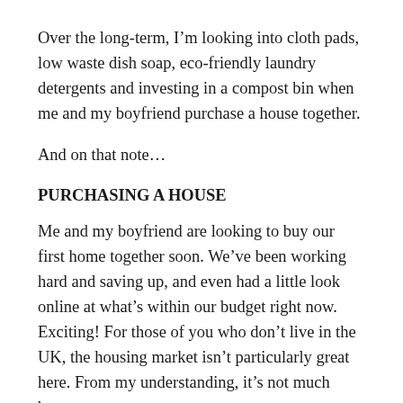Over the long-term, I'm looking into cloth pads, low waste dish soap, eco-friendly laundry detergents and investing in a compost bin when me and my boyfriend purchase a house together.
And on that note…
PURCHASING A HOUSE
Me and my boyfriend are looking to buy our first home together soon. We've been working hard and saving up, and even had a little look online at what's within our budget right now. Exciting! For those of you who don't live in the UK, the housing market isn't particularly great here. From my understanding, it's not much better